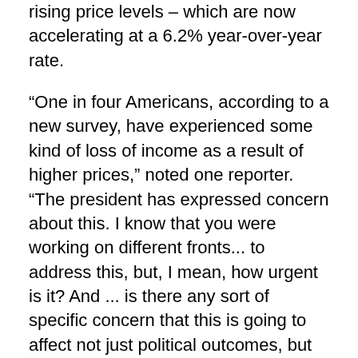rising price levels – which are now accelerating at a 6.2% year-over-year rate.
“One in four Americans, according to a new survey, have experienced some kind of loss of income as a result of higher prices,” noted one reporter. “The president has expressed concern about this. I know that you were working on different fronts... to address this, but, I mean, how urgent is it? And ... is there any sort of specific concern that this is going to affect not just political outcomes, but just the overall economy?”